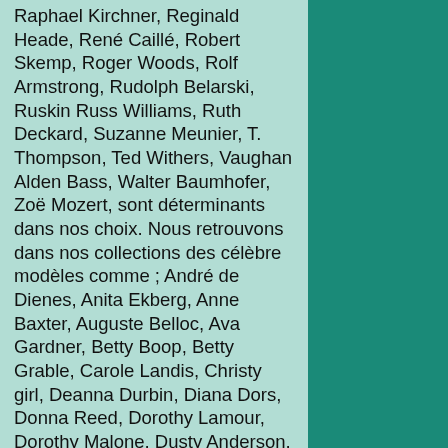Raphael Kirchner, Reginald Heade, René Caillé, Robert Skemp, Roger Woods, Rolf Armstrong, Rudolph Belarski, Ruskin Russ Williams, Ruth Deckard, Suzanne Meunier, T. Thompson, Ted Withers, Vaughan Alden Bass, Walter Baumhofer, Zoë Mozert, sont déterminants dans nos choix. Nous retrouvons dans nos collections des célèbre modèles comme ; André de Dienes, Anita Ekberg, Anne Baxter, Auguste Belloc, Ava Gardner, Betty Boop, Betty Grable, Carole Landis, Christy girl, Deanna Durbin, Diana Dors, Donna Reed, Dorothy Lamour, Dorothy Malone, Dusty Anderson, Elizabeth Montgomery, Esther Williams, Gene Tierney, Gibson Girl, Gloria DeHaven, Hedy Lamarr, Jane Russell, Jayne Mansfield, Jeanne Crain, Jessica Rabbit, Jules Chéret, Lana Turner, Lauren Bacall, Linda Darnell, Lucille Ball, Marguerite Chapman, Marilyn Monroe, Pin-up de fiction, Rita Hayworth, Sally Jupiter,